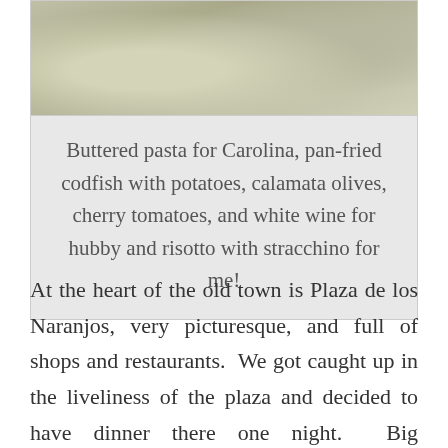[Figure (photo): Partial food photo showing what appears to be a rice or risotto dish, visible at the top of the page cropped at the bottom edge of the image]
Buttered pasta for Carolina, pan-fried codfish with potatoes, calamata olives, cherry tomatoes, and white wine for hubby and risotto with stracchino for me!
At the heart of the old town is Plaza de los Naranjos, very picturesque, and full of shops and restaurants. We got caught up in the liveliness of the plaza and decided to have dinner there one night. Big mistake...as with most main squares in these towns, the food was not great, and the service even worse. Marbella does have a great